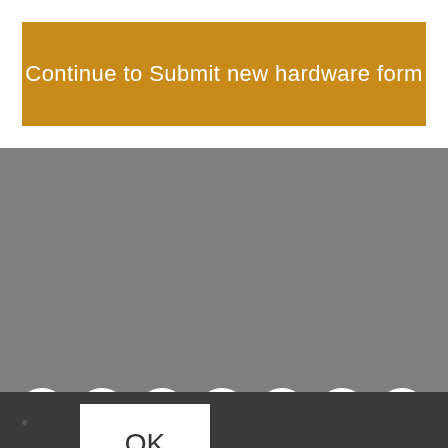[Figure (screenshot): Orange button labeled 'Continue to Submit new hardware form']
[Figure (infographic): Row of social media icons: Twitter, Instagram, Facebook, YouTube, Discord, Twitch, Pinterest on gray background]
[Figure (screenshot): White text input field on gray background]
[Figure (screenshot): OK button (white rectangle) on dark gray background]